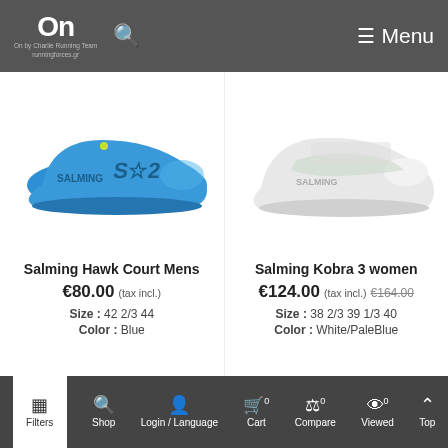On by Charlie Running Team logo | Search icon | Menu
[Figure (photo): Blue Salming Hawk Court Mens sneaker on white background]
[Figure (photo): White Salming Kobra 3 women sneaker on white background]
Salming Hawk Court Mens
€80.00  (tax incl.)
Size :  42 2/3  44
Color :  Blue
Salming Kobra 3 women
€124.00  (tax incl.)  €164.00
Size :  38 2/3  39 1/3  40
Color :  White/PaleBlue
Filters | Shop | Login / Language | Cart 0 | Compare 0 | Viewed 0 | Top